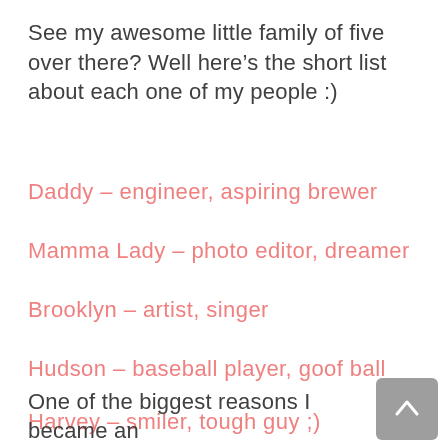See my awesome little family of five over there? Well here’s the short list about each one of my people :)
Daddy – engineer, aspiring brewer
Mamma Lady – photo editor, dreamer
Brooklyn – artist, singer
Hudson – baseball player, goof ball
Harvey – smiler, tough guy ;)
One of the biggest reasons I became an